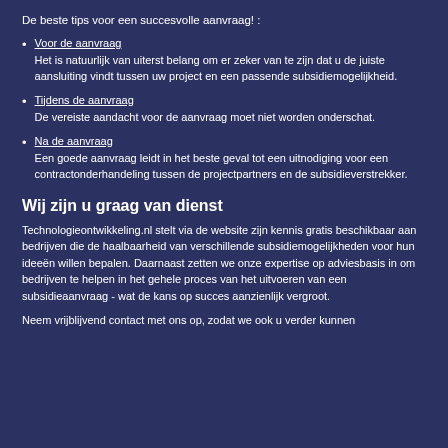De beste tips voor een succesvolle aanvraag! :
Voor de aanvraag
Het is natuurlijk van uiterst belang om er zeker van te zijn dat u de juiste aansluiting vindt tussen uw project en een passende subsidiemogelijkheid.
Tijdens de aanvraag
De vereiste aandacht voor de aanvraag moet niet worden onderschat.
Na de aanvraag
Een goede aanvraag leidt in het beste geval tot een uitnodiging voor een contractonderhandeling tussen de projectpartners en de subsidieverstrekker.
Wij zijn u graag van dienst
Technologieontwikkeling.nl stelt via de website zijn kennis gratis beschikbaar aan bedrijven die de haalbaarheid van verschillende subsidiemogelijkheden voor hun ideeën willen bepalen. Daarnaast zetten we onze expertise op adviesbasis in om bedrijven te helpen in het gehele proces van het uitvoeren van een subsidieaanvraag - wat de kans op succes aanzienlijk vergroot.
Neem vrijblijvend contact met ons op, zodat we ook u verder kunnen